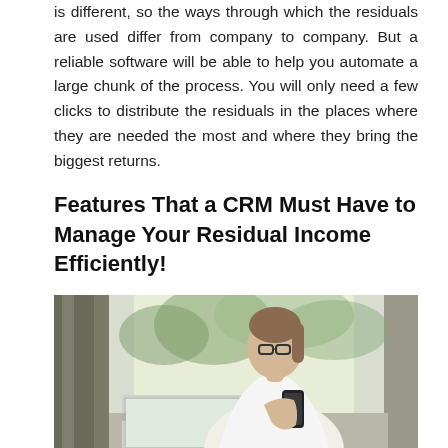is different, so the ways through which the residuals are used differ from company to company. But a reliable software will be able to help you automate a large chunk of the process. You will only need a few clicks to distribute the residuals in the places where they are needed the most and where they bring the biggest returns.
Features That a CRM Must Have to Manage Your Residual Income Efficiently!
[Figure (photo): A professional woman with glasses and a ponytail, wearing a white blazer, looking at her smartphone while sitting in front of a laptop. Background shows a bright window with greenery outside and curtains to the left.]